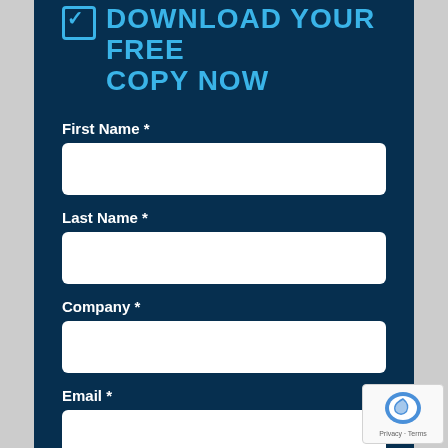DOWNLOAD YOUR FREE COPY NOW
First Name *
[Figure (other): Text input field for First Name]
Last Name *
[Figure (other): Text input field for Last Name]
Company *
[Figure (other): Text input field for Company]
Email *
[Figure (other): Text input field for Email]
Phone
[Figure (other): Text input field for Phone (partially visible)]
[Figure (other): reCAPTCHA badge with Privacy and Terms links]